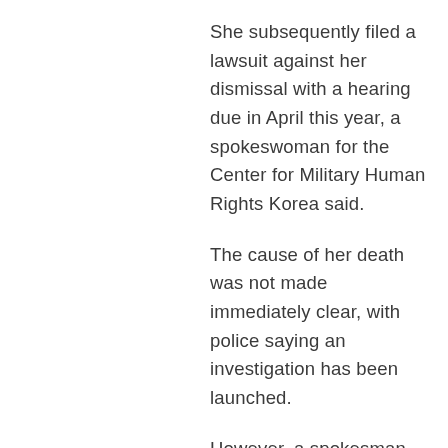She subsequently filed a lawsuit against her dismissal with a hearing due in April this year, a spokeswoman for the Center for Military Human Rights Korea said.
The cause of her death was not made immediately clear, with police saying an investigation has been launched.
However, a spokesman for the National Mental Health Center where Ms Byun had been receiving treatment, said it